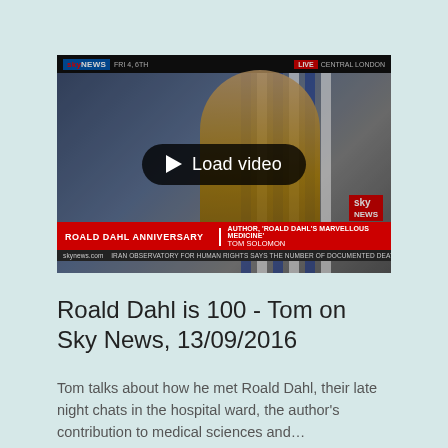[Figure (screenshot): Sky News broadcast screenshot showing a man being interviewed. Lower third reads 'ROALD DAHL ANNIVERSARY' with name 'TOM SOLOMON' and title 'AUTHOR, ROALD DAHL'S MARVELLOUS MEDICINE'. A 'Load video' button overlay is present.]
Roald Dahl is 100 - Tom on Sky News, 13/09/2016
Tom talks about how he met Roald Dahl, their late night chats in the hospital ward, the author's contribution to medical sciences and...